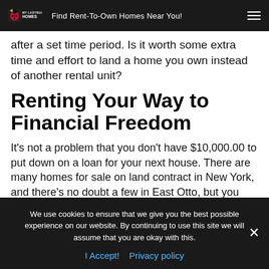Find Rent-To-Own Homes Near You!
after a set time period. Is it worth some extra time and effort to land a home you own instead of another rental unit?
Renting Your Way to Financial Freedom
It's not a problem that you don't have $10,000.00 to put down on a loan for your next house. There are many homes for sale on land contract in New York, and there's no doubt a few in East Otto, but you need to start looking for them and not just apartments and
We use cookies to ensure that we give you the best possible experience on our website. By continuing to use this site we will assume that you are okay with this.
I Accept!  Privacy policy